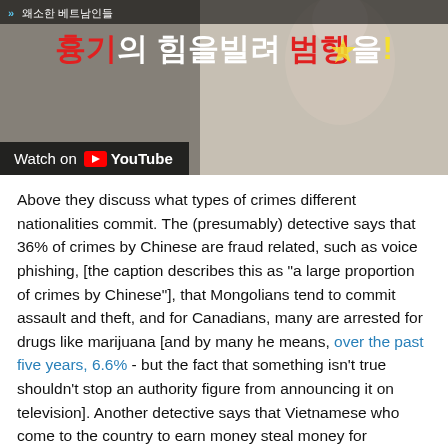[Figure (screenshot): YouTube video thumbnail showing Korean text. Top bar shows small Korean text '왜소한 베트남인들' and large stylized Korean text '흉기의 힘을빌려 범행을!' in red, white and yellow. Bottom left shows 'Watch on YouTube' button on dark background.]
Above they discuss what types of crimes different nationalities commit. The (presumably) detective says that 36% of crimes by Chinese are fraud related, such as voice phishing, [the caption describes this as "a large proportion of crimes by Chinese"], that Mongolians tend to commit assault and theft, and for Canadians, many are arrested for drugs like marijuana [and by many he means, over the past five years, 6.6% - but the fact that something isn't true shouldn't stop an authority figure from announcing it on television]. Another detective says that Vietnamese who come to the country to earn money steal money for entertainment expenses, and being small they tend to use knives to help them commit crimes, which poses a threat to detectives as well. Two detectives are asked about scary foreign crimes, and I get the feeling this is where the one detective goes on to talk about a foreign English instructor in another clip